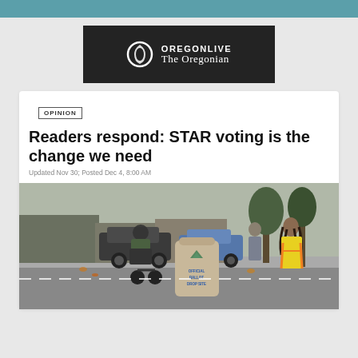[Figure (logo): OregonLive / The Oregonian logo on dark background]
OPINION
Readers respond: STAR voting is the change we need
Updated Nov 30; Posted Dec 4, 8:00 AM
[Figure (photo): Person on motorcycle dropping ballot into Multnomah County Official Ballot Drop Site box, with election worker in yellow safety vest nearby, on a city street]